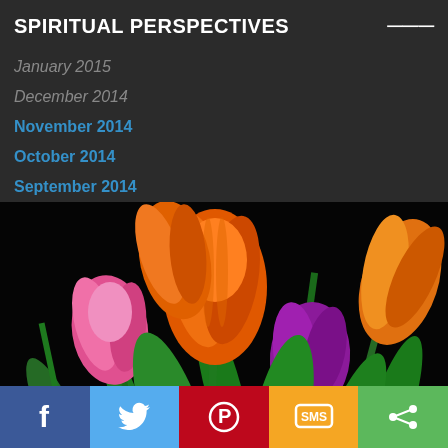SPIRITUAL PERSPECTIVES
January 2015
December 2014
November 2014
October 2014
September 2014
[Figure (photo): Colorful tulips (pink, orange, purple, yellow-orange) against a dark black background, close-up floral photography]
f  (twitter bird)  (pinterest P)  SMS  (share icon)